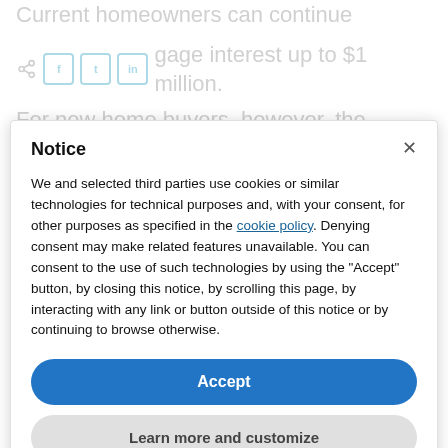Current homeowners can continue deducting mortgage interest up to $1 million. For new home buyers, however, the
Notice
We and selected third parties use cookies or similar technologies for technical purposes and, with your consent, for other purposes as specified in the cookie policy. Denying consent may make related features unavailable. You can consent to the use of such technologies by using the "Accept" button, by closing this notice, by scrolling this page, by interacting with any link or button outside of this notice or by continuing to browse otherwise.
Accept
Learn more and customize